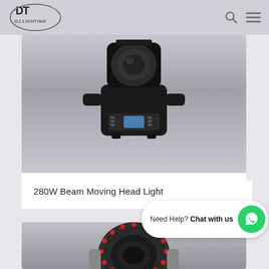DT DJ LIGHTING
[Figure (photo): Photograph of a 280W beam moving head stage light, black unit with control panel and LCD display visible at the bottom, viewed from an angle against a light grey background.]
280W Beam Moving Head Light
[Figure (photo): Close-up photograph of a moving head light with a ring of red LEDs around the lens opening, partially visible at the bottom of the page against a grey gradient background.]
Need Help? Chat with us